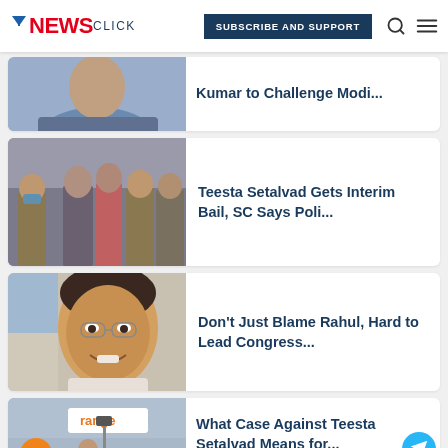NEWSCLICK — SUBSCRIBE AND SUPPORT
Kumar to Challenge Modi...
Teesta Setalvad Gets Interim Bail, SC Says Poli...
Don't Just Blame Rahul, Hard to Lead Congress...
What Case Against Teesta Setalvad Means for...